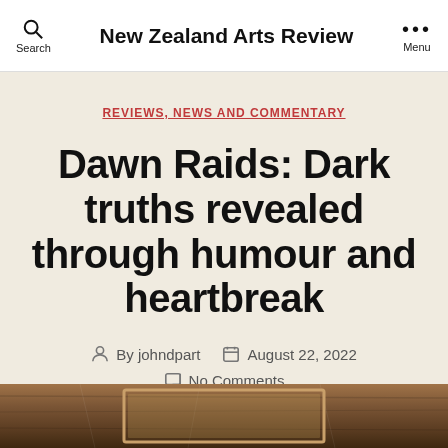New Zealand Arts Review
REVIEWS, NEWS AND COMMENTARY
Dawn Raids: Dark truths revealed through humour and heartbreak
By johndpart   August 22, 2022   No Comments
[Figure (photo): Bottom edge of a wooden frame or door, partially visible at the bottom of the page.]